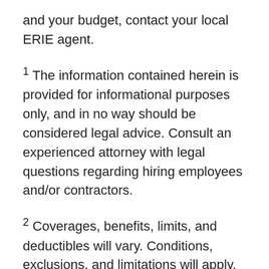and your budget, contact your local ERIE agent.
1 The information contained herein is provided for informational purposes only, and in no way should be considered legal advice. Consult an experienced attorney with legal questions regarding hiring employees and/or contractors.
2 Coverages, benefits, limits, and deductibles will vary. Conditions, exclusions, and limitations will apply. Refer to our disclaimer for more information. Talk to an ERIE agent for state-specific policy information.
You’ve put in the hard work building your business from the ground up. And it’s finally starting to pay